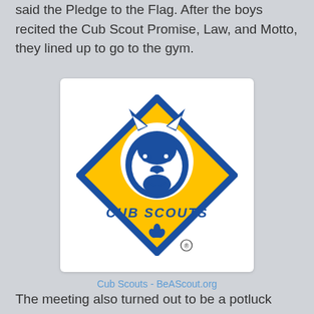said the Pledge to the Flag. After the boys recited the Cub Scout Promise, Law, and Motto, they lined up to go to the gym.
[Figure (logo): Cub Scouts logo — a yellow diamond shape with blue border containing a wolf head silhouette and the text 'CUB SCOUTS' with a fleur-de-lis symbol, registered trademark symbol at bottom]
Cub Scouts - BeAScout.org
The meeting also turned out to be a potluck dinner, provided by the returning Scouts' families! Even though Dino had